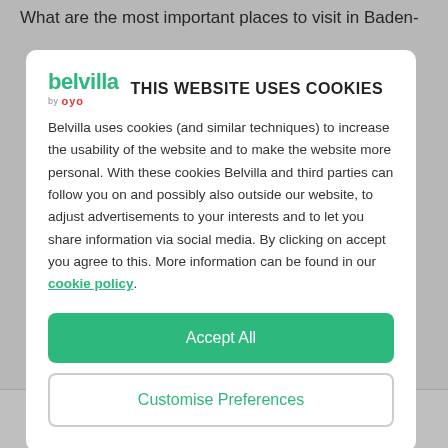What are the most important places to visit in Baden-
THIS WEBSITE USES COOKIES
Belvilla uses cookies (and similar techniques) to increase the usability of the website and to make the website more personal. With these cookies Belvilla and third parties can follow you on and possibly also outside our website, to adjust advertisements to your interests and to let you share information via social media. By clicking on accept you agree to this. More information can be found in our cookie policy.
Accept All
Customise Preferences
EXPLORE   WISHLIST   SIGN IN